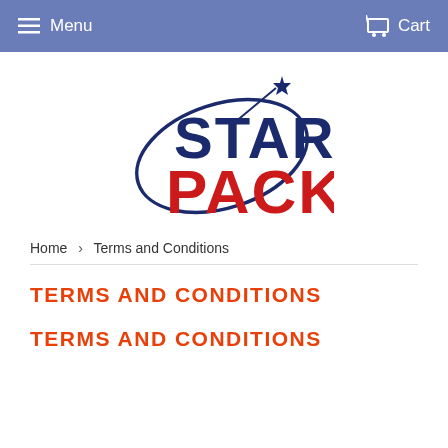Menu   Cart
[Figure (logo): Star Pack logo: STAR in dark navy blue bold text with a shooting star arc and star burst above, PACK in bold red text below]
Home > Terms and Conditions
TERMS AND CONDITIONS
TERMS AND CONDITIONS